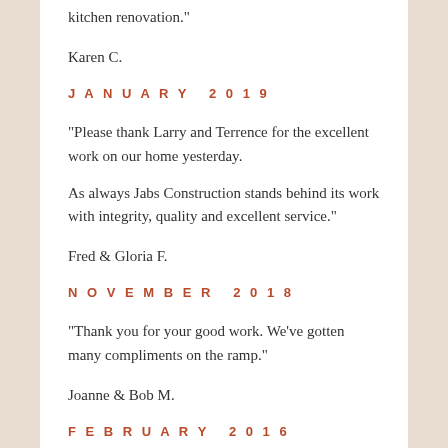“kitchen renovation.”
Karen C.
JANUARY 2019
“Please thank Larry and Terrence for the excellent work on our home yesterday.
As always Jabs Construction stands behind its work with integrity, quality and excellent service.”
Fred & Gloria F.
NOVEMBER 2018
“Thank you for your good work. We’ve gotten many compliments on the ramp.”
Joanne & Bob M.
FEBRUARY 2016